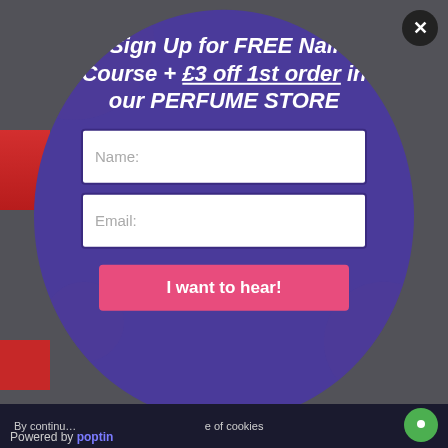[Figure (screenshot): A promotional popup modal with a circular purple background. Contains a heading offering a free nail course and £3 off first order in a perfume store, two input fields for Name and Email, and a pink 'I want to hear!' submit button. A close (X) button appears in the top right. Bottom bar shows cookie notice and 'Powered by poptin' branding.]